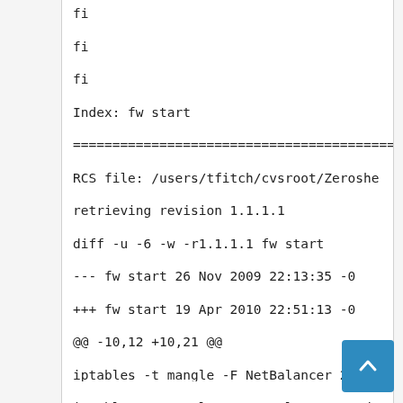fi
fi
fi
Index: fw_start
==========================================
RCS file: /users/tfitch/cvsroot/Zeroshe
retrieving revision 1.1.1.1
diff -u -6 -w -r1.1.1.1 fw_start
--- fw_start    26 Nov 2009 22:13:35 -0
+++ fw_start    19 Apr 2010 22:51:13 -0
@@ -10,12 +10,21 @@
iptables -t mangle -F NetBalancer 2>/de
iptables -t mangle -X NetBalancer 2>/de